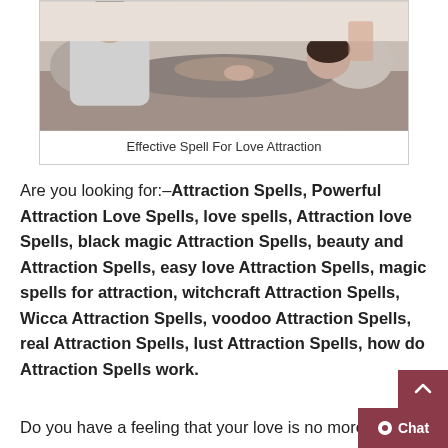[Figure (photo): A couple cuddling/embracing on a couch, woman lying on man's lap, warm domestic setting]
Effective Spell For Love Attraction
Are you looking for:–Attraction Spells, Powerful Attraction Love Spells, love spells, Attraction love Spells, black magic Attraction Spells, beauty and Attraction Spells, easy love Attraction Spells, magic spells for attraction, witchcraft Attraction Spells, Wicca Attraction Spells, voodoo Attraction Spells, real Attraction Spells, lust Attraction Spells, how do Attraction Spells work.
Do you have a feeling that your love is no more